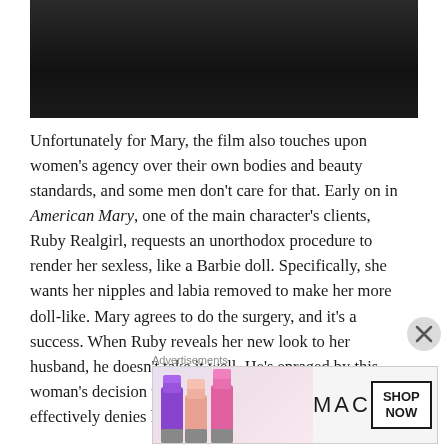[Figure (photo): Dark photograph, partially visible at the top of the page, showing a dimly lit scene with dark tones]
Unfortunately for Mary, the film also touches upon women's agency over their own bodies and beauty standards, and some men don't care for that. Early on in American Mary, one of the main character's clients, Ruby Realgirl, requests an unorthodox procedure to render her sexless, like a Barbie doll. Specifically, she wants her nipples and labia removed to make her more doll-like. Mary agrees to do the surgery, and it's a success. When Ruby reveals her new look to her husband, he doesn't take it well. He's enraged by this woman's decision to alter her body in such a way that it effectively denies him sexual
Advertisements
[Figure (photo): MAC Cosmetics advertisement banner showing colorful lipsticks on the left, the MAC logo in the center, a SHOP NOW button, and a red lipstick on the right]